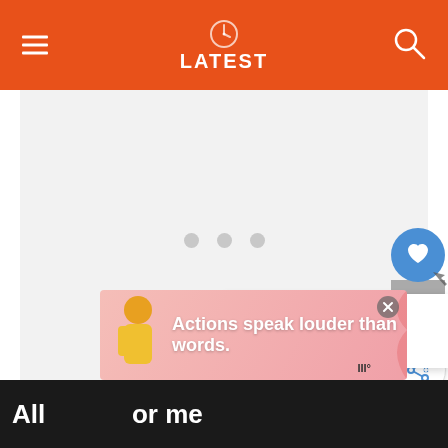LATEST
[Figure (screenshot): Loading state of a news/media app showing three grey loading dots in a grey area]
[Figure (infographic): Right sidebar with a blue heart like button, count of 1, and a share button]
[Figure (infographic): What's Next card showing '20 Richest Actor or Sta...' with a man's photo thumbnail]
Actions speak louder than words.
All or me